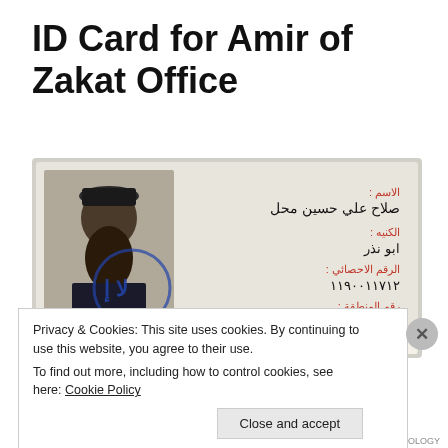ID Card for Amir of Zakat Office
[Figure (photo): Photo of an ID card showing a man with a beard wearing a traditional cap. The card contains Arabic text including a name (صلاح علي حسين محل), a nickname (ابو نذر), an ID number (١١٩٠٠١١٧١٢), a zone number (١), and a title (أمير مكتب الزكاة والصدقات). There is a circular stamp visible on the card.]
Privacy & Cookies: This site uses cookies. By continuing to use this website, you agree to their use.
To find out more, including how to control cookies, see here: Cookie Policy
Close and accept